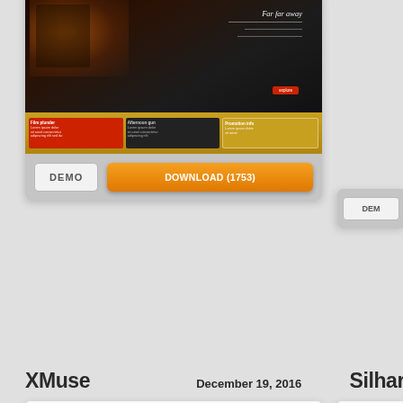[Figure (screenshot): Website template preview card showing dark bar/restaurant scene with 'Far far away' text, red CTA button, and colored content boxes below]
DEMO
DOWNLOAD (1753)
DEMO
XMuse
December 19, 2016
Silhar
[Figure (screenshot): Blank/white website template preview card for XMuse theme]
DEMO
DOWNLOAD (1363)
DEMO